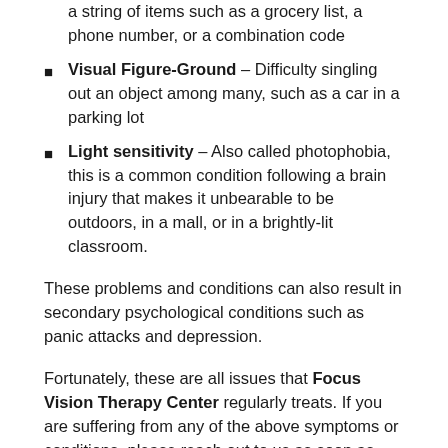a string of items such as a grocery list, a phone number, or a combination code
Visual Figure-Ground – Difficulty singling out an object among many, such as a car in a parking lot
Light sensitivity – Also called photophobia, this is a common condition following a brain injury that makes it unbearable to be outdoors, in a mall, or in a brightly-lit classroom.
These problems and conditions can also result in secondary psychological conditions such as panic attacks and depression.
Fortunately, these are all issues that Focus Vision Therapy Center regularly treats. If you are suffering from any of the above symptoms or conditions, please reach out to us as soon as possible. We regularly assist patients by retraining their visual systems to overcome these challenges, thus helping them get back to doing